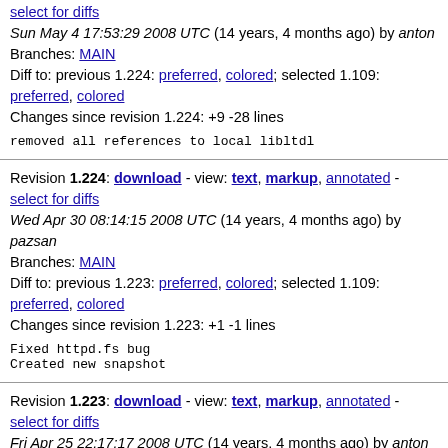select for diffs
Sun May 4 17:53:29 2008 UTC (14 years, 4 months ago) by anton
Branches: MAIN
Diff to: previous 1.224: preferred, colored; selected 1.109:
preferred, colored
Changes since revision 1.224: +9 -28 lines
removed all references to local libltdl
Revision 1.224: download - view: text, markup, annotated - select for diffs
Wed Apr 30 08:14:15 2008 UTC (14 years, 4 months ago) by pazsan
Branches: MAIN
Diff to: previous 1.223: preferred, colored; selected 1.109:
preferred, colored
Changes since revision 1.223: +1 -1 lines
Fixed httpd.fs bug
Created new snapshot
Revision 1.223: download - view: text, markup, annotated - select for diffs
Fri Apr 25 22:17:17 2008 UTC (14 years, 4 months ago) by anton
Branches: MAIN
Diff to: previous 1.222: preferred, colored; selected 1.109: